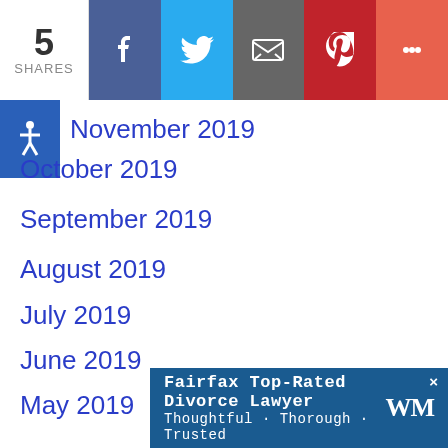[Figure (infographic): Social share bar with count of 5 shares and buttons for Facebook, Twitter, Email, Pinterest, and More]
November 2019
October 2019
September 2019
August 2019
July 2019
June 2019
May 2019
April 2019
March 2019
February 2019
January 2019
[Figure (infographic): Advertisement banner: Fairfax Top-Rated Divorce Lawyer - Thoughtful · Thorough · Trusted with WM logo]